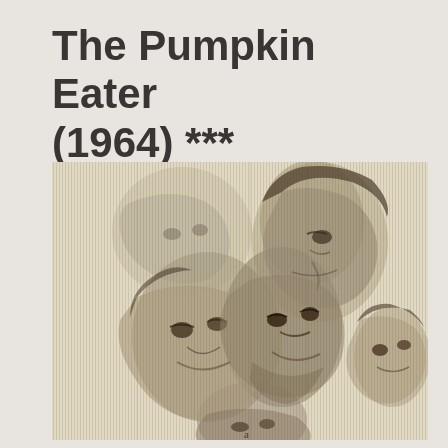The Pumpkin Eater (1964) ***
[Figure (illustration): Vintage illustrated book or film cover art showing multiple faces rendered in a streaked, etching-like style. Two larger faces dominate the center-left (a woman and a man), with two additional faces in the upper-right and lower-right, all depicted in sepia-toned monochrome with vertical line hatching throughout.]